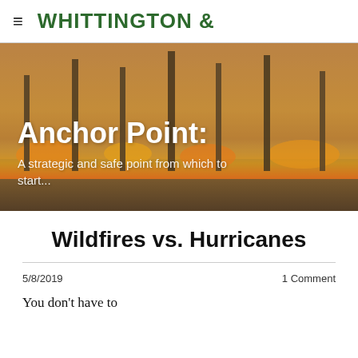WHITTINGTON &
[Figure (photo): Wildfire burning through a forest at night with orange flames and smoke, used as a hero banner background image]
Anchor Point:
A strategic and safe point from which to start...
Wildfires vs. Hurricanes
5/8/2019
1 Comment
You don't have to